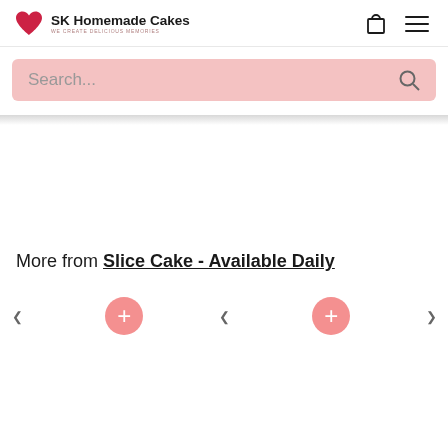SK Homemade Cakes - we create delicious memories
Search...
More from Slice Cake - Available Daily